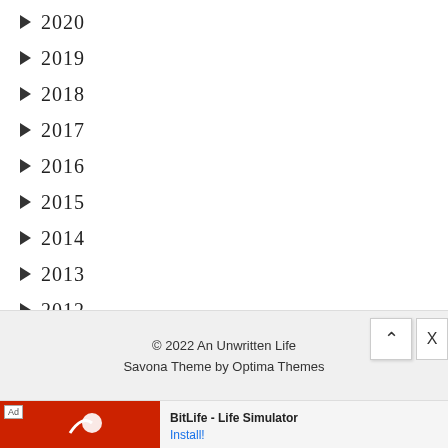► 2020
► 2019
► 2018
► 2017
► 2016
► 2015
► 2014
► 2013
► 2012
© 2022 An Unwritten Life
Savona Theme by Optima Themes
[Figure (screenshot): Ad banner for BitLife - Life Simulator app with Install button]